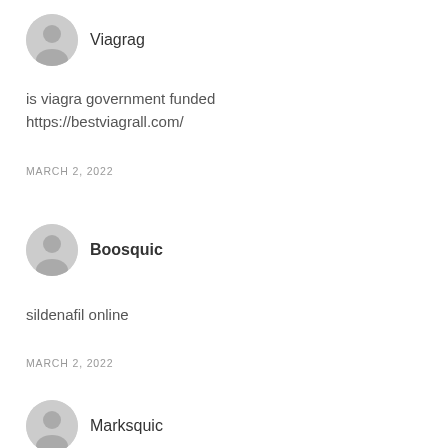Viagrag
is viagra government funded
https://bestviagrall.com/
MARCH 2, 2022
Boosquic
sildenafil online
MARCH 2, 2022
Marksquic